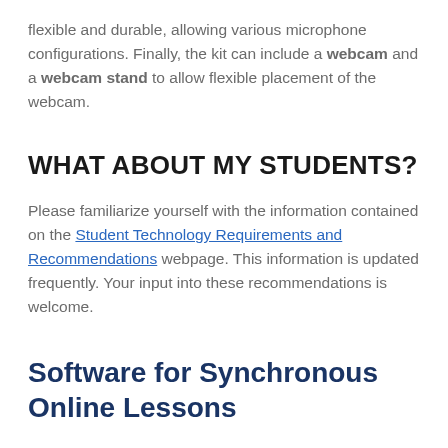flexible and durable, allowing various microphone configurations. Finally, the kit can include a webcam and a webcam stand to allow flexible placement of the webcam.
WHAT ABOUT MY STUDENTS?
Please familiarize yourself with the information contained on the Student Technology Requirements and Recommendations webpage. This information is updated frequently. Your input into these recommendations is welcome.
Software for Synchronous Online Lessons